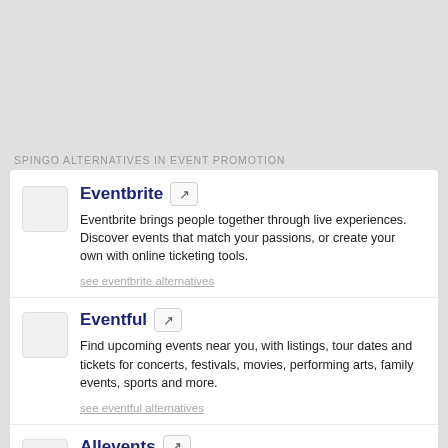SPINGO ALTERNATIVES IN EVENT PROMOTION
Eventbrite — Eventbrite brings people together through live experiences. Discover events that match your passions, or create your own with online ticketing tools. see eventbrite alternatives
Eventful — Find upcoming events near you, with listings, tour dates and tickets for concerts, festivals, movies, performing arts, family events, sports and more. see eventful alternatives
Allevents — Find information of nearby upcoming events happening in your city, Discover parties, concerts, meets,shows, sports, club, reunion, Performance. see allevents alternatives